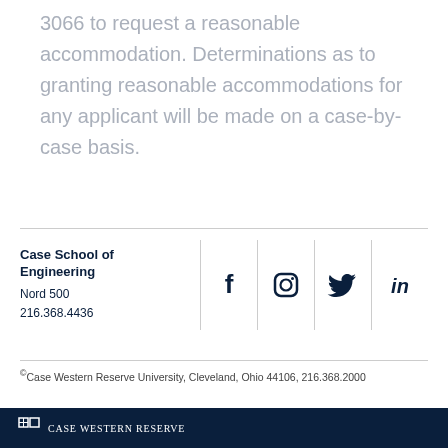3066 to request a reasonable accommodation. Determinations as to granting reasonable accommodations for any applicant will be made on a case-by-case basis.
Case School of Engineering
Nord 500
216.368.4436
[Figure (infographic): Social media icons: Facebook, Instagram, Twitter, LinkedIn displayed in a row with vertical dividers]
©Case Western Reserve University, Cleveland, Ohio 44106, 216.368.2000
[Figure (logo): Case Western Reserve University logo and wordmark on dark navy footer bar]